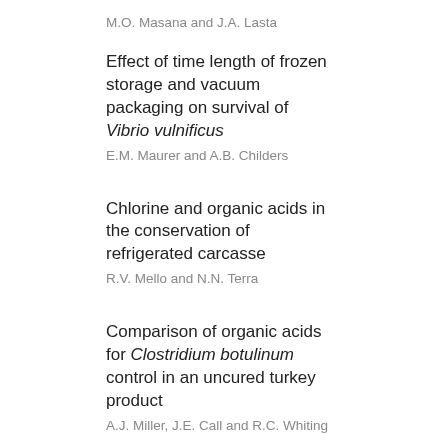M.O. Masana and J.A. Lasta
Effect of time length of frozen storage and vacuum packaging on survival of Vibrio vulnificus
E.M. Maurer and A.B. Childers
Chlorine and organic acids in the conservation of refrigerated carcasse
R.V. Mello and N.N. Terra
Comparison of organic acids for Clostridium botulinum control in an uncured turkey product
A.J. Miller, J.E. Call and R.C. Whiting
Chilling and transport of pork
P.C. Moerman
Identification of some lactic acid bacteria from